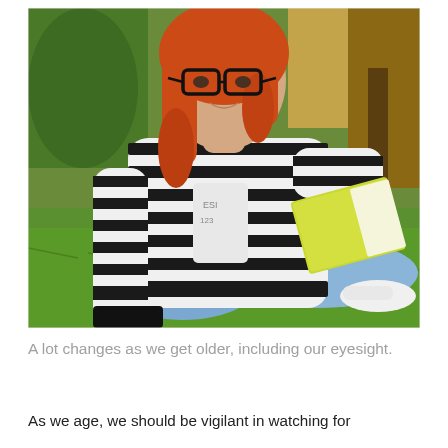[Figure (photo): A young woman with red hair and black-rimmed glasses sits on green grass, reading a yellow book. She wears a black-and-white striped long-sleeve top and light blue jeans with white sneakers. The background shows greenery and a wooden structure.]
A lot changes as we get older, including our eyesight.
As we age, we should be vigilant in watching for